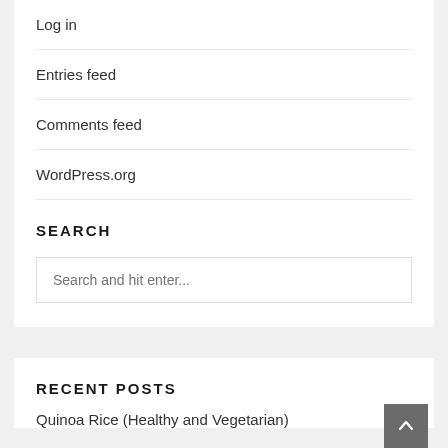Log in
Entries feed
Comments feed
WordPress.org
SEARCH
Search and hit enter...
RECENT POSTS
Quinoa Rice (Healthy and Vegetarian)